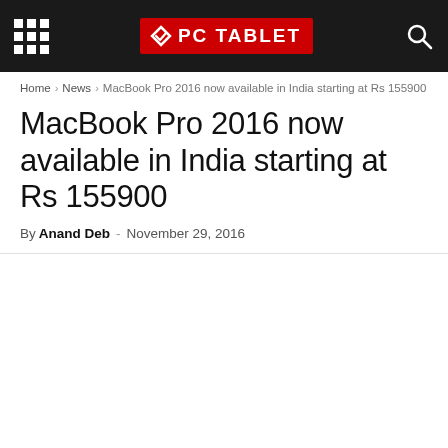PC TABLET
Home > News > MacBook Pro 2016 now available in India starting at Rs 155900
MacBook Pro 2016 now available in India starting at Rs 155900
By Anand Deb - November 29, 2016